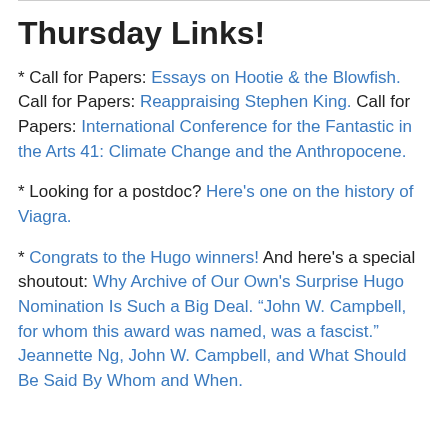Thursday Links!
* Call for Papers: Essays on Hootie & the Blowfish. Call for Papers: Reappraising Stephen King. Call for Papers: International Conference for the Fantastic in the Arts 41: Climate Change and the Anthropocene.
* Looking for a postdoc? Here's one on the history of Viagra.
* Congrats to the Hugo winners! And here's a special shoutout: Why Archive of Our Own's Surprise Hugo Nomination Is Such a Big Deal. “John W. Campbell, for whom this award was named, was a fascist.” Jeannette Ng, John W. Campbell, and What Should Be Said By Whom and When.